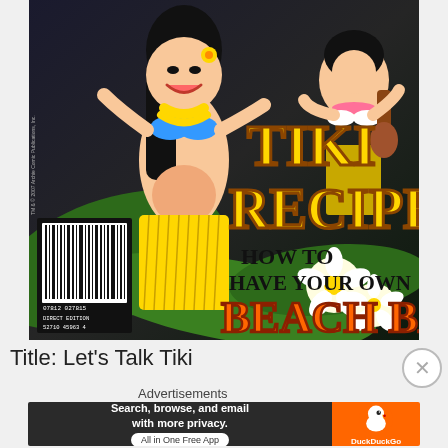[Figure (illustration): Magazine cover for 'Tiki Recipes: How to Have Your Own Beach Bash!' featuring cartoon pin-up style hula dancers in bikinis with lei and grass skirts, one playing a ukulele, tropical flowers (plumeria), palm leaves, against dark background. Large yellow text reads 'TIKI RECIPES', black text 'HOW TO HAVE YOUR OWN', orange text 'BEACH BASH!'. Barcode in lower left. Small vertical text: TM & © 2007 Archie Comic Publications, Inc. DIRECT EDITION.]
Title: Let's Talk Tiki
Advertisements
[Figure (screenshot): DuckDuckGo advertisement banner: dark left section with white bold text 'Search, browse, and email with more privacy.' and white pill button 'All in One Free App'. Orange right section with DuckDuckGo duck logo and 'DuckDuckGo' text.]